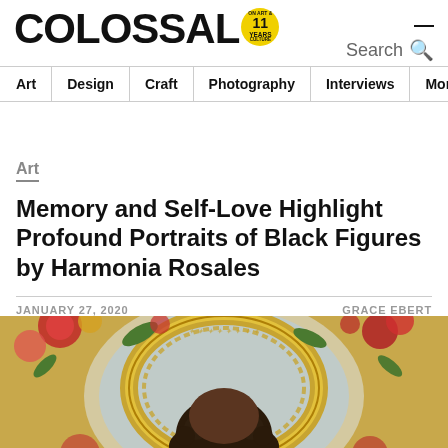COLOSSAL — 11 YEARS on Art & Culture
Art | Design | Craft | Photography | Interviews | More
Art
Memory and Self-Love Highlight Profound Portraits of Black Figures by Harmonia Rosales
JANUARY 27, 2020    GRACE EBERT
[Figure (photo): A painting by Harmonia Rosales showing a Black figure with curly hair within an ornate floral and gold circular frame, reminiscent of Renaissance-style portraiture.]